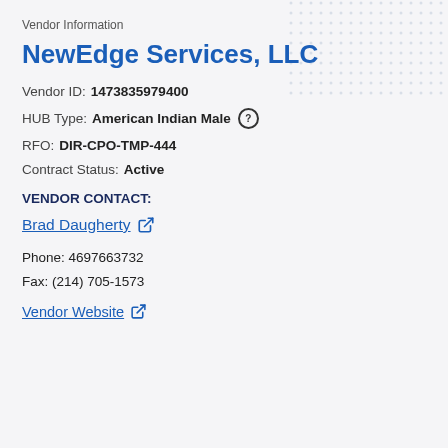Vendor Information
NewEdge Services, LLC
Vendor ID: 1473835979400
HUB Type: American Indian Male
RFO: DIR-CPO-TMP-444
Contract Status: Active
VENDOR CONTACT:
Brad Daugherty
Phone: 4697663732
Fax: (214) 705-1573
Vendor Website